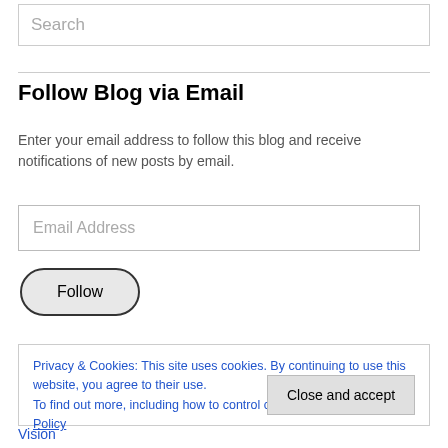Search
Follow Blog via Email
Enter your email address to follow this blog and receive notifications of new posts by email.
Email Address
Follow
Privacy & Cookies: This site uses cookies. By continuing to use this website, you agree to their use.
To find out more, including how to control cookies, see here: Cookie Policy
Close and accept
Vision